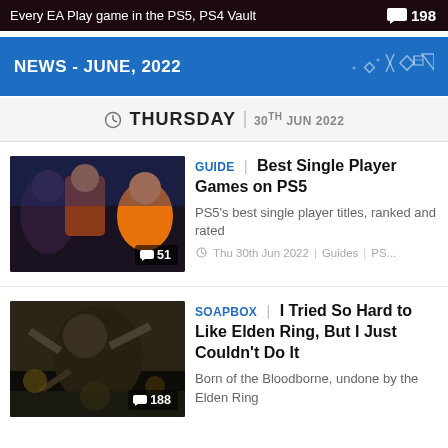Every EA Play game in the PS5, PS4 Vault  198
NEWS - JUNE, 2022
THURSDAY | 30TH JUN 2022
[Figure (photo): Thumbnail image showing characters from PS5 games including Horizon and Ratchet & Clank with comment count 51]
GUIDE | Best Single Player Games on PS5
PS5's best single player titles, ranked and rated
Thu 30th Jun 2022 | Guides | PS...
[Figure (photo): Thumbnail image showing dark fantasy game Elden Ring with comment count 188]
SOAPBOX | I Tried So Hard to Like Elden Ring, But I Just Couldn't Do It
Born of the Bloodborne, undone by the Elden Ring